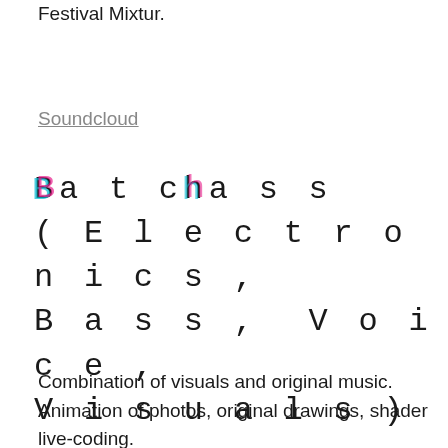Music Festival, Gaudeamus MuziekWeek, Festival Mixtur.
Soundcloud
Batchass (Electronics, Bass, Voice, Visuals)
Combination of visuals and original music. Animation of photos, original drawings, shader live-coding.